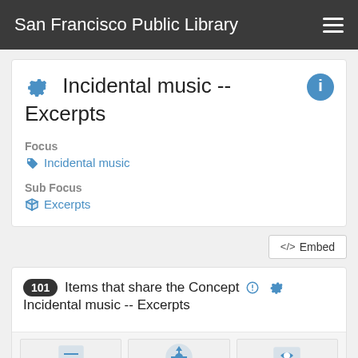San Francisco Public Library
Incidental music -- Excerpts
Focus
Incidental music
Sub Focus
Excerpts
</> Embed
101 Items that share the Concept ⚙ Incidental music -- Excerpts
[Figure (screenshot): Three partially visible thumbnail images at the bottom of the page showing blue icons/graphics]